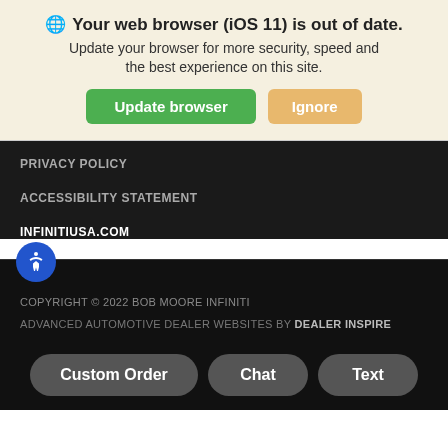🌐 Your web browser (iOS 11) is out of date.
Update your browser for more security, speed and the best experience on this site.
Update browser
Ignore
PRIVACY POLICY
ACCESSIBILITY STATEMENT
INFINITIUSA.COM
COPYRIGHT © 2022 BOB MOORE INFINITI
ADVANCED AUTOMOTIVE DEALER WEBSITES BY DEALER INSPIRE
Custom Order
Chat
Text